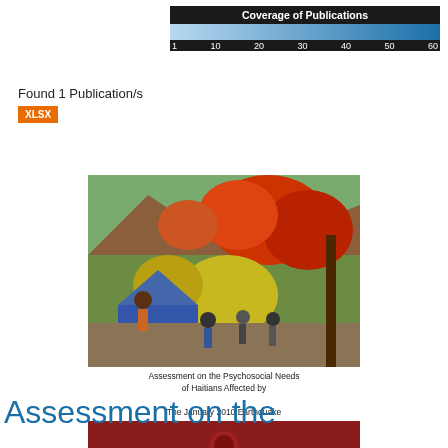[Figure (infographic): Coverage of Publications color legend bar ranging from 1 to 60, dark background with light-to-dark blue gradient]
Found 1 Publication/s
XLSX
[Figure (photo): Book cover of 'Assessment on the Psychosocial Needs of Haitians Affected by The January 2010 Earthquake' showing a colorful painting of people in a disaster scene, with a dark red lower section]
Assessment on the Psychosocial Needs of Haitians Affected by The January 2010 Earthquake
Assessment on the